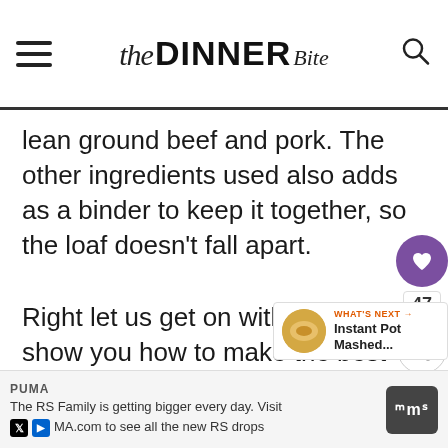The DINNER Bite
lean ground beef and pork. The other ingredients used also adds as a binder to keep it together, so the loaf doesn't fall apart.
Right let us get on with it, let me show you how to make the best failproof 30 minutes meatloaf in your pressure cooke. Also, if you have never tried the pot cooking technique in your IP, this is y
WHAT'S NEXT → Instant Pot Mashed...
PUMA
The RS Family is getting bigger every day. Visit MA.com to see all the new RS drops